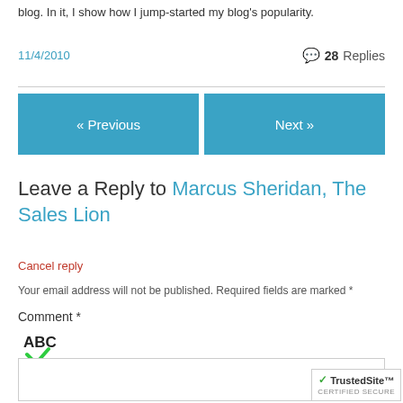blog. In it, I show how I jump-started my blog's popularity.
11/4/2010
28 Replies
« Previous
Next »
Leave a Reply to Marcus Sheridan, The Sales Lion
Cancel reply
Your email address will not be published. Required fields are marked *
Comment *